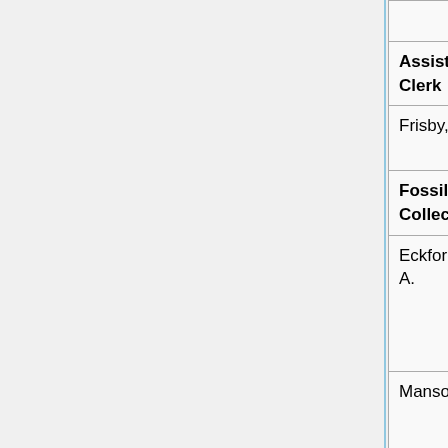| Name | Rank | Regiment/Unit |  |
| --- | --- | --- | --- |
|  |  | Infantry | W |
| Assistant Clerk |  |  |  |
| Frisby, P. A. | Captain | Suffolk Yeomanry | — |
| Fossil Collectors |  |  |  |
| Eckford, R. J. A. | Corporal | Royal Scots and Royal Engineers (Special Brigade) | W |
| Manson, W. | Deck Hand | Royal Naval Reserve (T.) | — |
| Haldane, D. | Lieutenant | Royal Scots | — |
| General Assistants |  |  |  |